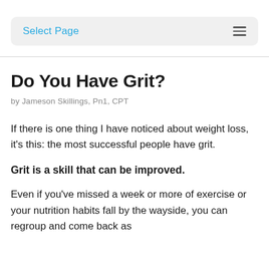Select Page
Do You Have Grit?
by Jameson Skillings, Pn1, CPT
If there is one thing I have noticed about weight loss, it’s this: the most successful people have grit.
Grit is a skill that can be improved.
Even if you’ve missed a week or more of exercise or your nutrition habits fall by the wayside, you can regroup and come back as